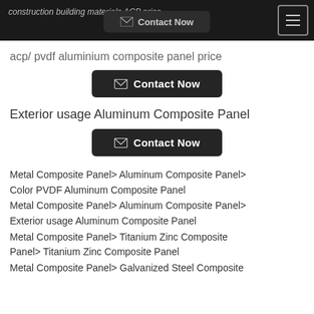construction building materials ACP price
acp/ pvdf aluminium composite panel price
Contact Now
Exterior usage Aluminum Composite Panel
Contact Now
Metal Composite Panel> Aluminum Composite Panel> Color PVDF Aluminum Composite Panel
Metal Composite Panel> Aluminum Composite Panel> Exterior usage Aluminum Composite Panel
Metal Composite Panel> Titanium Zinc Composite Panel> Titanium Zinc Composite Panel
Metal Composite Panel> Galvanized Steel Composite